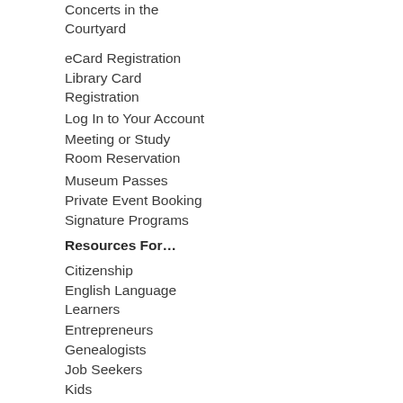Concerts in the Courtyard
eCard Registration
Library Card Registration
Log In to Your Account
Meeting or Study Room Reservation
Museum Passes
Private Event Booking
Signature Programs
Resources For…
Citizenship
English Language Learners
Entrepreneurs
Genealogists
Job Seekers
Kids
Teens
Older Adults
Users with Disabilities
World Language